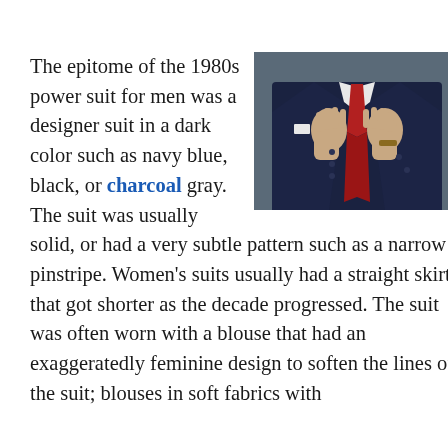[Figure (photo): A man in a dark navy blue suit adjusting a red tie, photographed from the neck down against a dark gray background.]
The epitome of the 1980s power suit for men was a designer suit in a dark color such as navy blue, black, or charcoal gray. The suit was usually solid, or had a very subtle pattern such as a narrow pinstripe. Women's suits usually had a straight skirt that got shorter as the decade progressed. The suit was often worn with a blouse that had an exaggeratedly feminine design to soften the lines of the suit; blouses in soft fabrics with